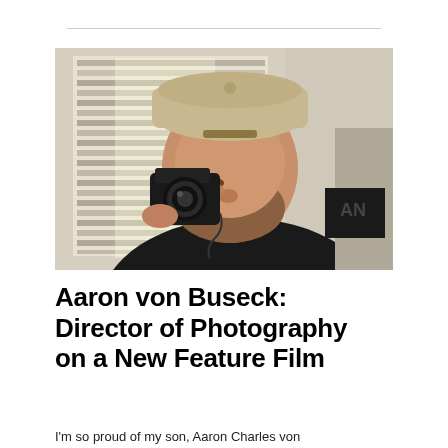[Figure (photo): A young man wearing a backwards tan baseball cap and black t-shirt holds a camera up to his eye, looking through the viewfinder. He has a beard. The background shows window blinds and a wall.]
Aaron von Buseck: Director of Photography on a New Feature Film
I'm so proud of my son, Aaron Charles von